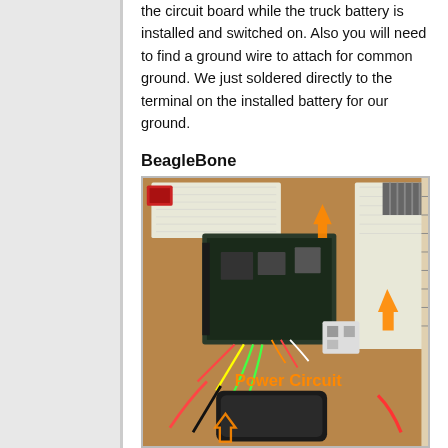the circuit board while the truck battery is installed and switched on. Also you will need to find a ground wire to attach for common ground. We just soldered directly to the terminal on the installed battery for our ground.
BeagleBone
[Figure (photo): Photo of a BeagleBone circuit board on a workbench with breadboards, wiring, and a power circuit highlighted with orange arrows and text reading 'Power Circuit']